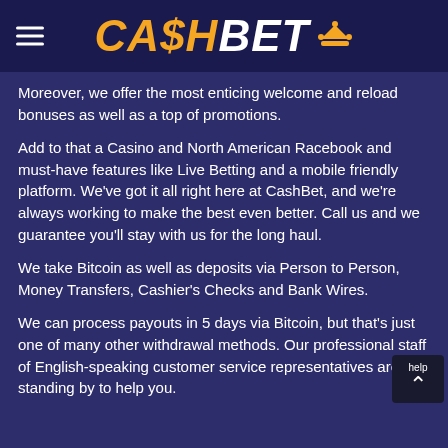CA$HBET
Moreover, we offer the most enticing welcome and reload bonuses as well as a top of promotions.
Add to that a Casino and North American Racebook and must-have features like Live Betting and a mobile friendly platform. We've got it all right here at CashBet, and we're always working to make the best even better. Call us and we guarantee you'll stay with us for the long haul.
We take Bitcoin as well as deposits via Person to Person, Money Transfers, Cashier's Checks and Bank Wires.
We can process payouts in 5 days via Bitcoin, but that's just one of many other withdrawal methods. Our professional staff of English-speaking customer service representatives are standing by to help you.